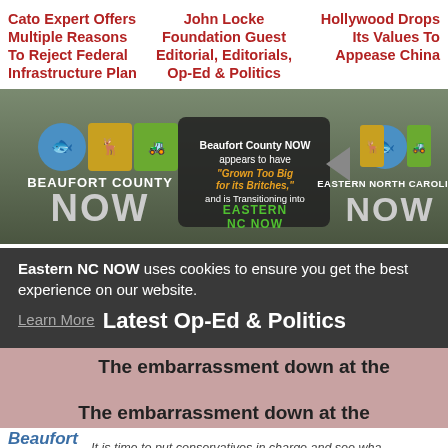Cato Expert Offers Multiple Reasons To Reject Federal Infrastructure Plan
John Locke Foundation Guest Editorial, Editorials, Op-Ed & Politics
Hollywood Drops Its Values To Appease China
[Figure (infographic): Beaufort County NOW transitioning to Eastern North Carolina NOW banner advertisement with logos]
Eastern NC NOW uses cookies to ensure you get the best experience on our website. Learn More  Latest Op-Ed & Politics
The embarrassment down at the
Beaufort Observer
It is time to put conservatives in charge and see wha